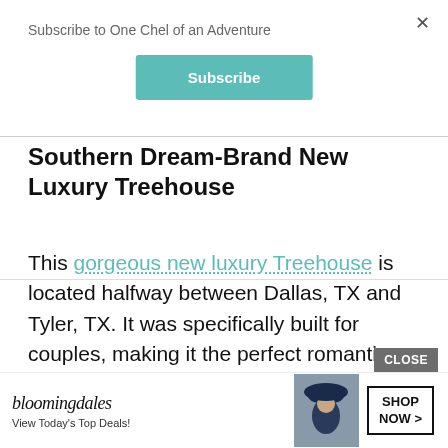Subscribe to One Chel of an Adventure
Subscribe
Southern Dream-Brand New Luxury Treehouse
This gorgeous new luxury Treehouse is located halfway between Dallas, TX and Tyler, TX. It was specifically built for couples, making it the perfect romantic getaway.
CLOSE
[Figure (screenshot): Bloomingdale's advertisement banner: logo text 'bloomingdales', tagline 'View Today's Top Deals!', image of woman in hat, 'SHOP NOW >' button]